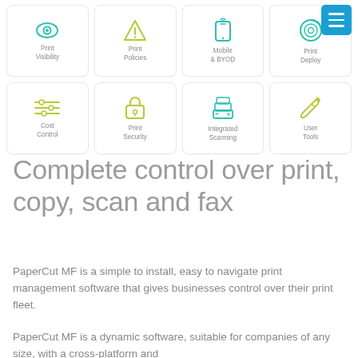[Figure (infographic): Grid of 8 icon cards in 2 rows of 4: Print Visibility (eye icon), Print Policies (warning triangle), Mobile & BYOD (phone with wifi), Print Deploy (circular target), Cost Control (sliders), Print Security (padlock), Integrated Scanning (printer stack), User Tools (wrench). Each card has a teal or green icon and label text.]
Complete control over print, copy, scan and fax
PaperCut MF is a simple to install, easy to navigate print management software that gives businesses control over their print fleet.
PaperCut MF is a dynamic software, suitable for companies of any size, with a cross-platform and